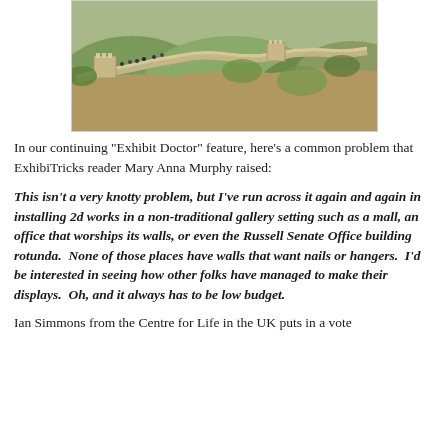[Figure (photo): Aerial photograph of the Great Wall of China winding through green and brown hilly terrain with visitors on the wall]
In our continuing "Exhibit Doctor" feature, here's a common problem that ExhibiTricks reader Mary Anna Murphy raised:
This isn't a very knotty problem, but I've run across it again and again in installing 2d works in a non-traditional gallery setting such as a mall, an office that worships its walls, or even the Russell Senate Office building rotunda.  None of those places have walls that want nails or hangers.  I'd be interested in seeing how other folks have managed to make their displays.  Oh, and it always has to be low budget.
Ian Simmons from the Centre for Life in the UK puts in a vote